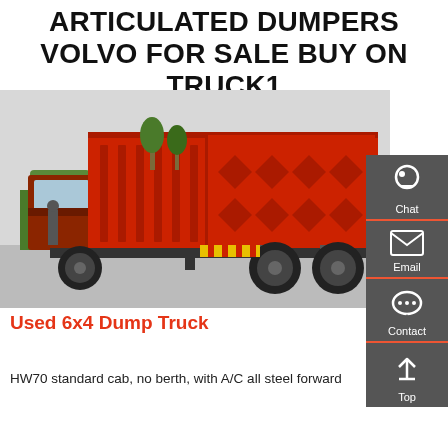ARTICULATED DUMPERS VOLVO FOR SALE BUY ON TRUCK1
[Figure (photo): Red used 6x4 dump truck parked in industrial yard, rear-side view showing large red tipper body, dual rear axles, yellow-red chevron safety markings, with green equipment and blue warehouse building in background]
Used 6x4 Dump Truck
HW70 standard cab, no berth, with A/C all steel forward